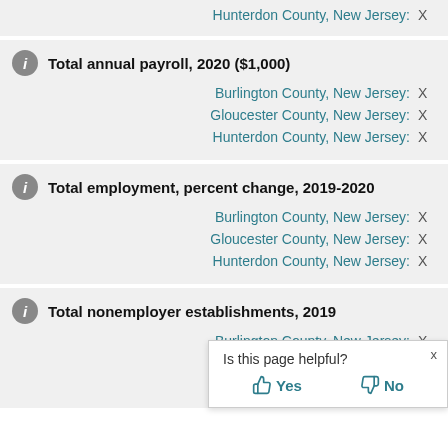Hunterdon County, New Jersey: X
Total annual payroll, 2020 ($1,000)
Burlington County, New Jersey: X
Gloucester County, New Jersey: X
Hunterdon County, New Jersey: X
Total employment, percent change, 2019-2020
Burlington County, New Jersey: X
Gloucester County, New Jersey: X
Hunterdon County, New Jersey: X
Total nonemployer establishments, 2019
Burlington County, New Jersey: X
Gloucester County, New Jersey: X
Hunterdon County, New Jersey: X